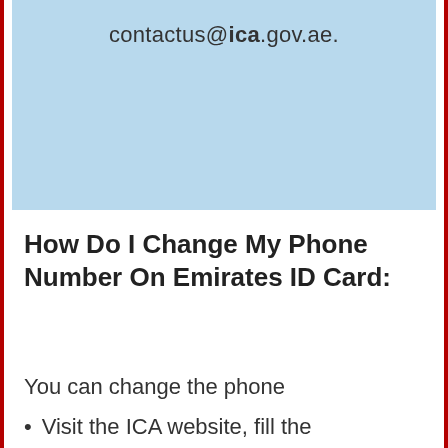contactus@ica.gov.ae.
How Do I Change My Phone Number On Emirates ID Card:
You can change the phone number given on your ID card in two ways.
Visit the ICA website, fill the Eform given to you, then